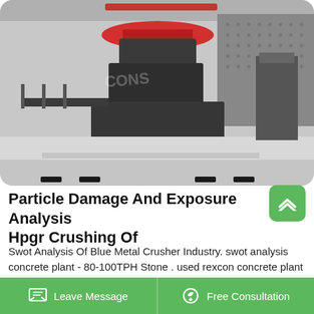[Figure (photo): Large industrial crusher / grinding machine in a factory setting. The machine is dark grey/charcoal colored, with a red ring at the top, mounted on a concrete floor inside an industrial building.]
Particle Damage And Exposure Analysis Hpgr Crushing Of
Swot Analysis Of Blue Metal Crusher Industry. swot analysis concrete plant - 80-100TPH Stone . used rexcon concrete plant for sale – Grinding Mill China sample swot analysis for stone crushing company cross belt coal sampler supplier from
Leave Message   Free Consultation